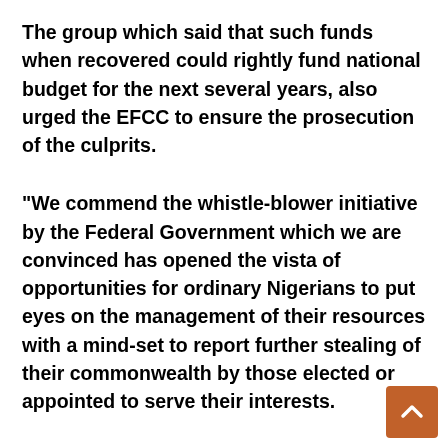The group which said that such funds when recovered could rightly fund national budget for the next several years, also urged the EFCC to ensure the prosecution of the culprits.
“We commend the whistle-blower initiative by the Federal Government which we are convinced has opened the vista of opportunities for ordinary Nigerians to put eyes on the management of their resources with a mind-set to report further stealing of their commonwealth by those elected or appointed to serve their interests.